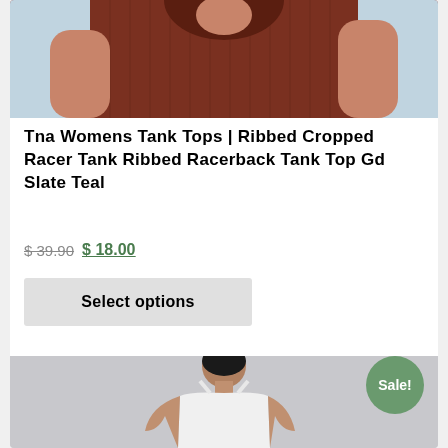[Figure (photo): Top portion of a woman wearing a dark brown/rust ribbed cropped tank top, cropped at the torso]
Tna Womens Tank Tops | Ribbed Cropped Racer Tank Ribbed Racerback Tank Top Gd Slate Teal
$ 39.90 $ 18.00
Select options
[Figure (photo): Woman wearing a white ribbed cropped bralette/tank top against a light grey background, with a Sale! badge overlay]